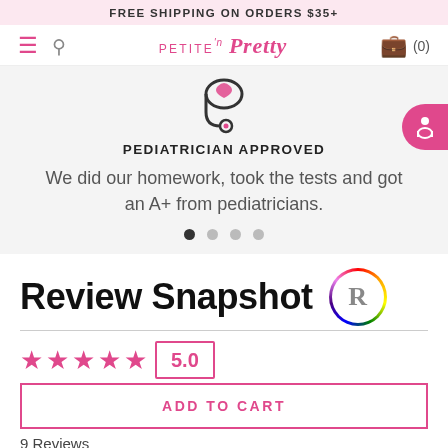FREE SHIPPING ON ORDERS $35+
[Figure (screenshot): Petite 'n Pretty navigation bar with hamburger menu, search icon, logo, and bag icon with (0) count]
[Figure (illustration): Stethoscope illustration with pink heart]
PEDIATRICIAN APPROVED
We did our homework, took the tests and got an A+ from pediatricians.
Review Snapshot
5.0
9 Reviews
ADD TO CART